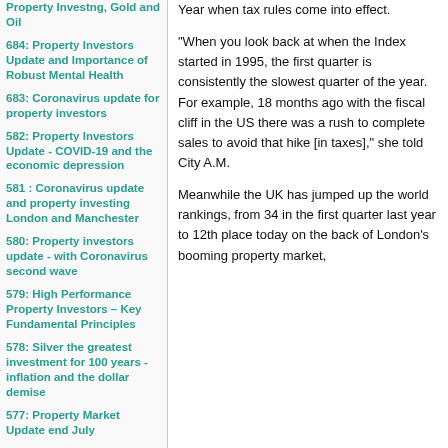Property Investng, Gold and Oil
684: Property Investors Update and Importance of Robust Mental Health
683: Coronavirus update for property investors
582: Property Investors Update - COVID-19 and the economic depression
581 : Coronavirus update and property investing London and Manchester
580: Property investors update - with Coronavirus second wave
579: High Performance Property Investors – Key Fundamental Principles
578: Silver the greatest investment for 100 years - inflation and the dollar demise
577: Property Market Update end July
576: Property Investing update UK post COVID-19 Lockdown
575: Importance of Vitamin D - Coronavirus
574: Longer Term Covid-19 behaviours and impact on property market
Year when tax rules come into effect.
“When you look back at when the Index started in 1995,  the first quarter is consistently the slowest quarter of the year. For example, 18 months ago with the fiscal cliff in the US there was a rush to complete sales to avoid that hike [in taxes],” she told City A.M.
Meanwhile the UK has jumped up the world rankings, from 34 in the first quarter last year to 12th place today on the back of London’s booming property market,